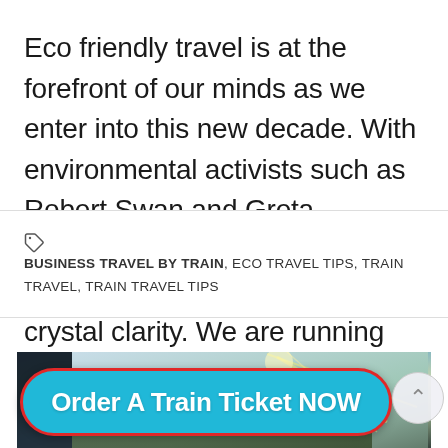Eco friendly travel is at the forefront of our minds as we enter into this new decade. With environmental activists such as Robert Swan and Greta Thunberg, the message to the world is being delivered with crystal clarity. We are running out of time to…
BUSINESS TRAVEL BY TRAIN, ECO TRAVEL TIPS, TRAIN TRAVEL, TRAIN TRAVEL TIPS
[Figure (photo): Partial view of a train or outdoor scene with trees, light rays, and a dark building edge visible at the top]
Order A Train Ticket NOW